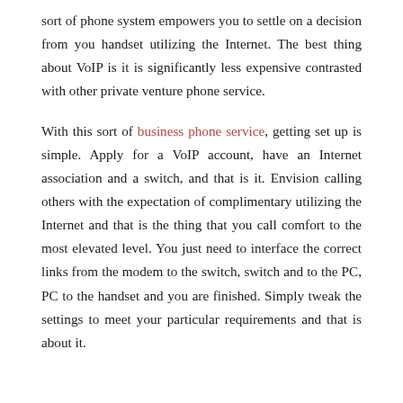sort of phone system empowers you to settle on a decision from you handset utilizing the Internet. The best thing about VoIP is it is significantly less expensive contrasted with other private venture phone service.
With this sort of business phone service, getting set up is simple. Apply for a VoIP account, have an Internet association and a switch, and that is it. Envision calling others with the expectation of complimentary utilizing the Internet and that is the thing that you call comfort to the most elevated level. You just need to interface the correct links from the modem to the switch, switch and to the PC, PC to the handset and you are finished. Simply tweak the settings to meet your particular requirements and that is about it.